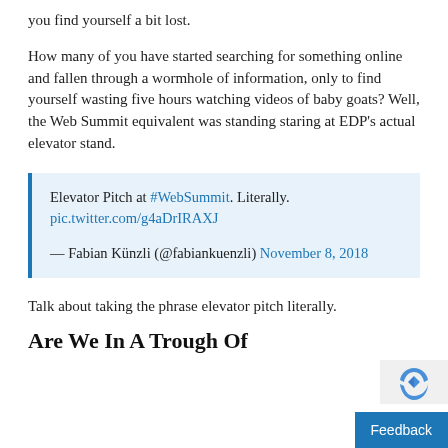you find yourself a bit lost.
How many of you have started searching for something online and fallen through a wormhole of information, only to find yourself wasting five hours watching videos of baby goats? Well, the Web Summit equivalent was standing staring at EDP’s actual elevator stand.
Elevator Pitch at #WebSummit. Literally. pic.twitter.com/g4aDrIRAXJ

— Fabian Künzli (@fabiankuenzli) November 8, 2018
Talk about taking the phrase elevator pitch literally.
Are We In A Trough Of